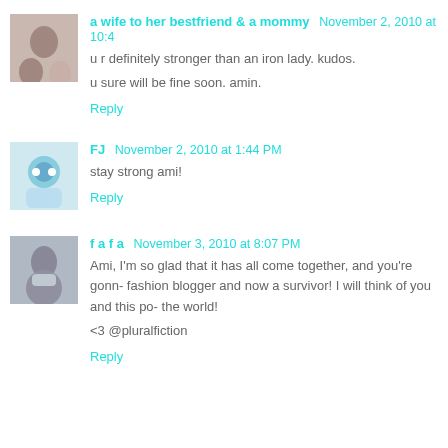a wife to her bestfriend & a mommy  November 2, 2010 at 10:4
u r definitely stronger than an iron lady. kudos.

u sure will be fine soon. amin.
Reply
FJ  November 2, 2010 at 1:44 PM
stay strong ami!
Reply
f a f a  November 3, 2010 at 8:07 PM
Ami, I'm so glad that it has all come together, and you're gonn- fashion blogger and now a survivor! I will think of you and this po- the world!

<3 @pluralfiction
Reply